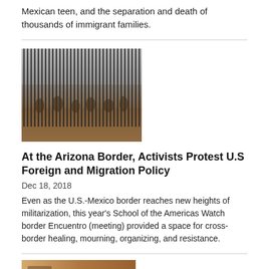Mexican teen, and the separation and death of thousands of immigrant families.
[Figure (photo): Photo of the US-Mexico border fence with vertical metal bars, people visible through the fence]
At the Arizona Border, Activists Protest U.S Foreign and Migration Policy
Dec 18, 2018
Even as the U.S.-Mexico border reaches new heights of militarization, this year's School of the Americas Watch border Encuentro (meeting) provided a space for cross-border healing, mourning, organizing, and resistance.
[Figure (photo): Partial photo at bottom of page, appears to be a close-up image]